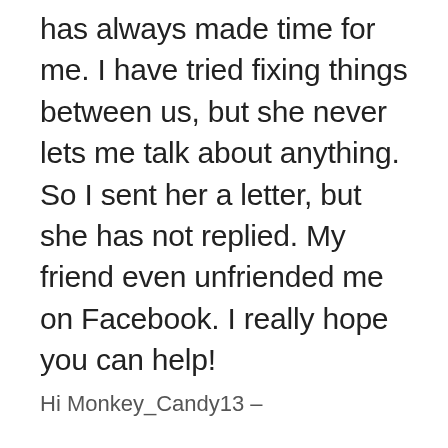has always made time for me. I have tried fixing things between us, but she never lets me talk about anything. So I sent her a letter, but she has not replied. My friend even unfriended me on Facebook. I really hope you can help!
Hi Monkey_Candy13 –